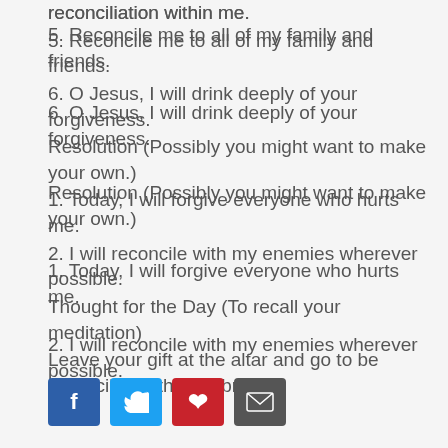reconciliation within me.
5. Reconcile me to all of my family and friends.
6. O Jesus, I will drink deeply of your forgiveness.
Resolution (Possibly you might want to make your own.)
1. Today, I will forgive everyone who hurts me.
2. I will reconcile with my enemies wherever possible.
Thought for the Day (To recall your meditation)
Leave your gift at the altar and go to be reconciled with your brother.
[Figure (infographic): Social media share buttons: Facebook (blue), Twitter (light blue), Pinterest (red), Email (dark gray)]